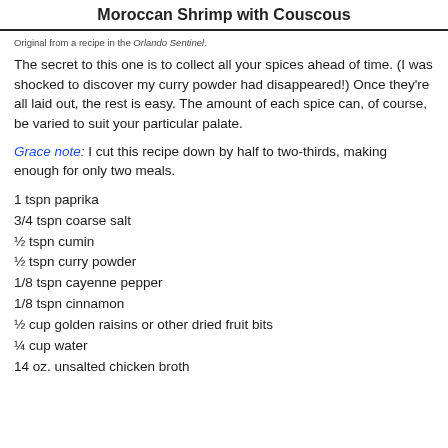Moroccan Shrimp with Couscous
Original from a recipe in the Orlando Sentinel.
The secret to this one is to collect all your spices ahead of time. (I was shocked to discover my curry powder had disappeared!) Once they're all laid out, the rest is easy. The amount of each spice can, of course, be varied to suit your particular palate.
Grace note: I cut this recipe down by half to two-thirds, making enough for only two meals.
1 tspn paprika
3/4 tspn coarse salt
½ tspn cumin
½ tspn curry powder
1/8 tspn cayenne pepper
1/8 tspn cinnamon
½ cup golden raisins or other dried fruit bits
¼ cup water
14 oz. unsalted chicken broth